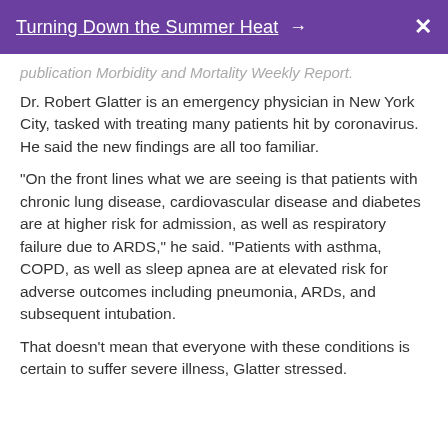Turning Down the Summer Heat → X
publication Morbidity and Mortality Weekly Report.
Dr. Robert Glatter is an emergency physician in New York City, tasked with treating many patients hit by coronavirus. He said the new findings are all too familiar.
"On the front lines what we are seeing is that patients with chronic lung disease, cardiovascular disease and diabetes are at higher risk for admission, as well as respiratory failure due to ARDS," he said. "Patients with asthma, COPD, as well as sleep apnea are at elevated risk for adverse outcomes including pneumonia, ARDs, and subsequent intubation.
That doesn't mean that everyone with these conditions is certain to suffer severe illness, Glatter stressed.